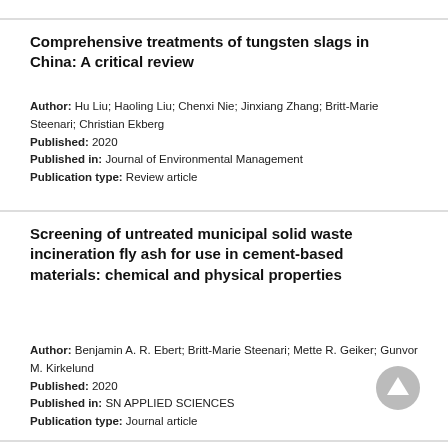Comprehensive treatments of tungsten slags in China: A critical review
Author: Hu Liu; Haoling Liu; Chenxi Nie; Jinxiang Zhang; Britt-Marie Steenari; Christian Ekberg
Published: 2020
Published in: Journal of Environmental Management
Publication type: Review article
Screening of untreated municipal solid waste incineration fly ash for use in cement-based materials: chemical and physical properties
Author: Benjamin A. R. Ebert; Britt-Marie Steenari; Mette R. Geiker; Gunvor M. Kirkelund
Published: 2020
Published in: SN APPLIED SCIENCES
Publication type: Journal article